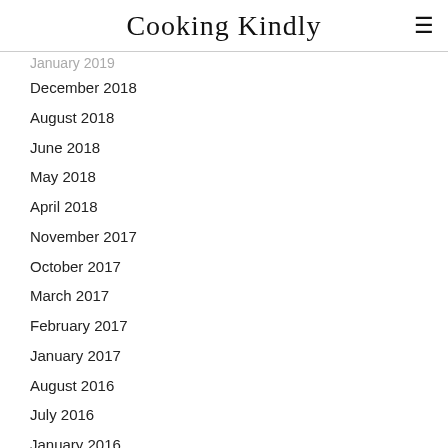Cooking Kindly
January 2019
December 2018
August 2018
June 2018
May 2018
April 2018
November 2017
October 2017
March 2017
February 2017
January 2017
August 2016
July 2016
January 2016
December 2015
September 2015
August 2015